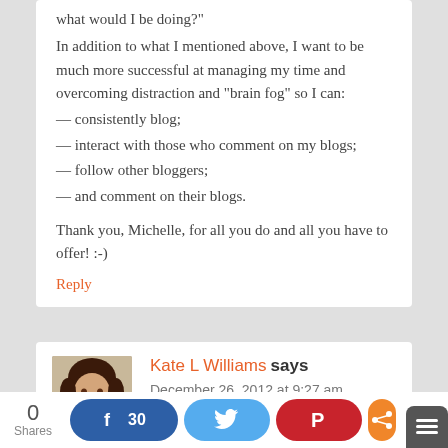what would I be doing?"
In addition to what I mentioned above, I want to be much more successful at managing my time and overcoming distraction and “brain fog” so I can:
— consistently blog;
— interact with those who comment on my blogs;
— follow other bloggers;
— and comment on their blogs.
Thank you, Michelle, for all you do and all you have to offer! :-)
Reply
Kate L Williams says
December 26, 2012 at 9:27 am
0 Shares